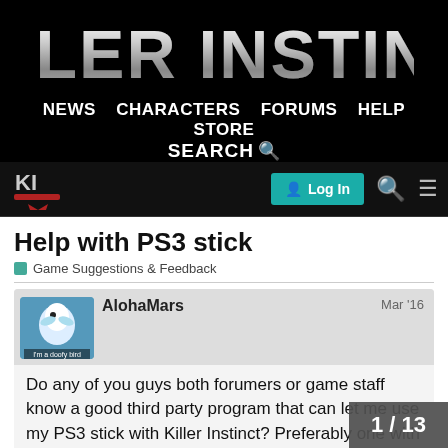[Figure (logo): Killer Instinct game logo in metallic silver text on black background]
NEWS  CHARACTERS  FORUMS  HELP  STORE  SEARCH
[Figure (logo): Killer Instinct small logo with Log In button, search icon, and menu icon]
Help with PS3 stick
Game Suggestions & Feedback
AlohaMars  Mar '16  Do any of you guys both forumers or game staff know a good third party program that can let me use my PS3 stick with Killer Instinct? Preferably one with the least addo devs add controller supprot or something b
1 / 13